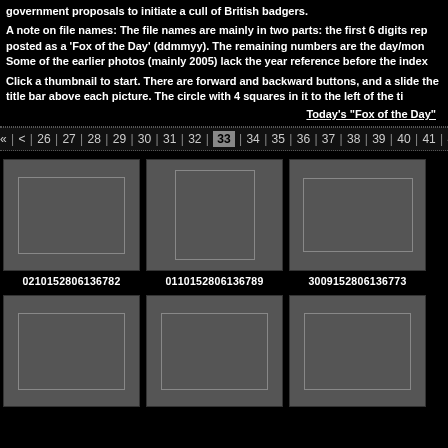government proposals to initiate a cull of British badgers.
A note on file names: The file names are mainly in two parts: the first 6 digits rep posted as a 'Fox of the Day' (ddmmyy). The remaining numbers are the day/mon Some of the earlier photos (mainly 2005) lack the year reference before the index
Click a thumbnail to start. There are forward and backward buttons, and a slide the title bar above each picture. The circle with 4 squares in it to the left of the ti
Today's "Fox of the Day"
« | < | 26 | 27 | 28 | 29 | 30 | 31 | 32 | 33 | 34 | 35 | 36 | 37 | 38 | 39 | 40 | 41 | 42
[Figure (photo): Thumbnail placeholder landscape]
0210152806136782
[Figure (photo): Thumbnail placeholder portrait]
0110152806136789
[Figure (photo): Thumbnail placeholder landscape wide]
3009152806136773
[Figure (photo): Thumbnail placeholder row 2 left]
[Figure (photo): Thumbnail placeholder row 2 center]
[Figure (photo): Thumbnail placeholder row 2 right]